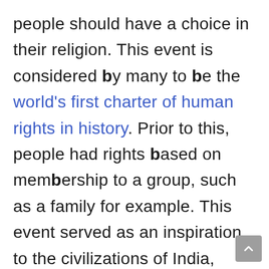people should have a choice in their religion. This event is considered by many to be the world's first charter of human rights in history. Prior to this, people had rights based on membership to a group, such as a family for example. This event served as an inspiration to the civilizations of India, Greece, and Rome, cultures that are